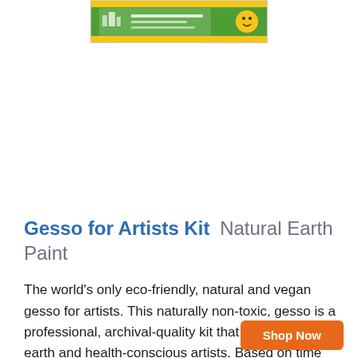[Figure (photo): Product image of Gesso for Artists Kit by Natural Earth Paint, shown as a small package/box with green and colorful labeling at the top of the page.]
Gesso for Artists Kit Natural Earth Paint
The world's only eco-friendly, natural and vegan gesso for artists. This naturally non-toxic, gesso is a professional, archival-quality kit that is perfect for earth and health-conscious artists. Based on time tested recipes from the Renaissance.